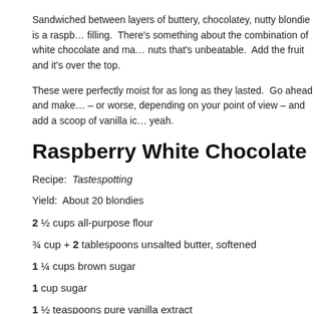Sandwiched between layers of buttery, chocolatey, nutty blondie is a raspberry white chocolate filling.  There's something about the combination of white chocolate and macadamia nuts that's unbeatable.  Add the fruit and it's over the top.
These were perfectly moist for as long as they lasted.  Go ahead and make them better – or worse, depending on your point of view – and add a scoop of vanilla ice cream.  Oh yeah.
Raspberry White Chocolate Macadamia Nut Bl
Recipe:  Tastespotting
Yield:  About 20 blondies
2 ½ cups all-purpose flour
¾ cup + 2 tablespoons unsalted butter, softened
1 ¼ cups brown sugar
1 cup sugar
1 ½ teaspoons pure vanilla extract
3 eggs